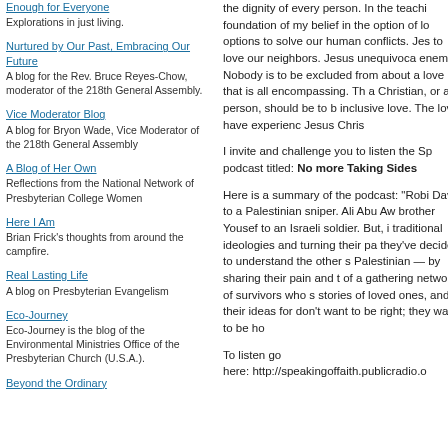Enough for Everyone — Explorations in just living.
Nurtured by Our Past, Embracing Our Future — A blog for the Rev. Bruce Reyes-Chow, moderator of the 218th General Assembly.
Vice Moderator Blog — A blog for Bryon Wade, Vice Moderator of the 218th General Assembly
A Blog of Her Own — Reflections from the National Network of Presbyterian College Women
Here I Am — Brian Frick's thoughts from around the campfire.
Real Lasting Life — A blog on Presbyterian Evangelism
Eco-Journey — Eco-Journey is the blog of the Environmental Ministries Office of the Presbyterian Church (U.S.A.).
Beyond the Ordinary
the dignity of every person. In the teachi foundation of my belief in the option of lo options to solve our human conflicts. Jes to love our neighbors. Jesus unequivoca enemies. Nobody is to be excluded from about a love that is all encompassing. Th a Christian, or any person, should be to b inclusive love. The love I have experienc Jesus Chris
I invite and challenge you to listen the Sp podcast titled: No more Taking Sides
Here is a summary of the podcast: "Robi David to a Palestinian sniper. Ali Abu Aw brother Yousef to an Israeli soldier. But, i traditional ideologies and turning their pa they've decided to understand the other s Palestinian — by sharing their pain and t of a gathering network of survivors who s stories of loved ones, and their ideas for don't want to be right; they want to be ho
To listen go here: http://speakingoffaith.publicradio.o